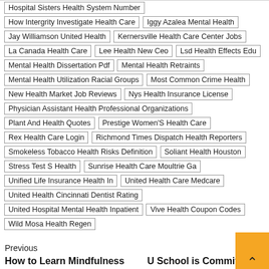Hospital Sisters Health System Number | How Intergrity Investigate Health Care | Iggy Azalea Mental Health | Jay Williamson United Health | Kernersville Health Care Center Jobs | La Canada Health Care | Lee Health New Ceo | Lsd Health Effects Edu | Mental Health Dissertation Pdf | Mental Health Retraints | Mental Health Utilization Racial Groups | Most Common Crime Health | New Health Market Job Reviews | Nys Health Insurance License | Physician Assistant Health Professional Organizations | Plant And Health Quotes | Prestige Women'S Health Care | Rex Health Care Login | Richmond Times Dispatch Health Reporters | Smokeless Tobacco Health Risks Definition | Soliant Health Houston | Stress Test S Health | Sunrise Health Care Moultrie Ga | Unified Life Insurance Health In | United Health Care Medcare | United Health Cincinnati Dentist Rating | United Hospital Mental Health Inpatient | Vive Health Coupon Codes | Wild Mosa Health Regen
Previous
How to Learn Mindfulness Skills to Support Intuitive Eating
Next
U School is Committed to Make Us Experience Happiness